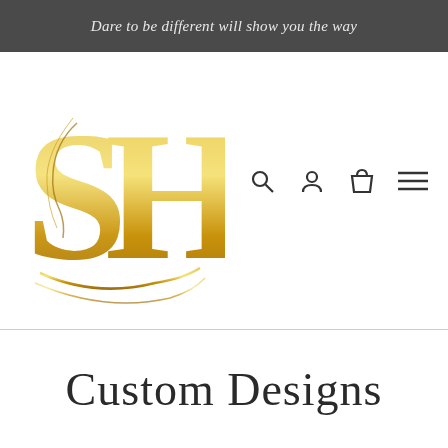Dare to be different will show you the way
[Figure (logo): SH logo with gold gradient letters S and H intertwined with a woman's face silhouette]
Custom Designs